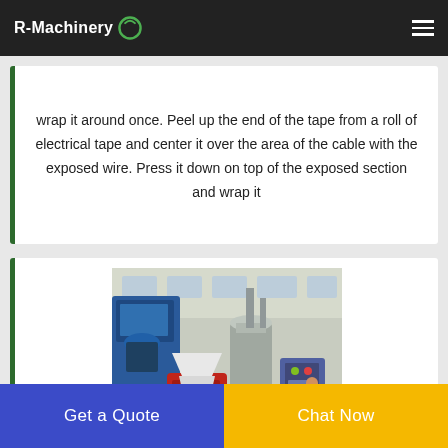R-Machinery
wrap it around once. Peel up the end of the tape from a roll of electrical tape and center it over the area of the cable with the exposed wire. Press it down on top of the exposed section and wrap it
[Figure (photo): Industrial cable recycling / wire granulator machinery inside a factory. Shows blue large machine on left, red machine in center-foreground, silver cylindrical equipment, control panel, and a worker in background.]
Get a Quote
Chat Now